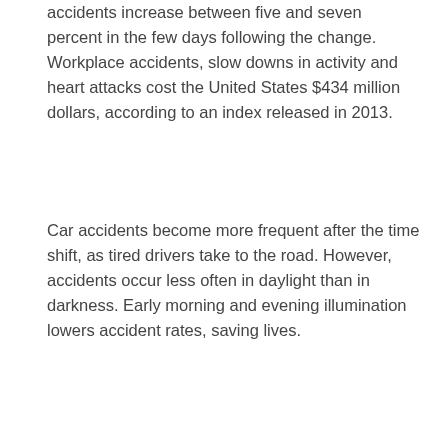accidents increase between five and seven percent in the few days following the change. Workplace accidents, slow downs in activity and heart attacks cost the United States $434 million dollars, according to an index released in 2013.
Car accidents become more frequent after the time shift, as tired drivers take to the road. However, accidents occur less often in daylight than in darkness. Early morning and evening illumination lowers accident rates, saving lives.
Daylight savings time was designed as a means of saving energy. The ideas was originally put forth by Benjamin Franklin in 1784, when he suggested aligning work hours with daylight would help save expensive candle wax. “Spring ahead, fall back” was officially adopted during the First World War, in response to skyrocketing petroleum prices. It was not until 1966 that a standard system for managing daylight savings time was adopted. A 2012 study by National Geographic brought claims of any energy savings into question.